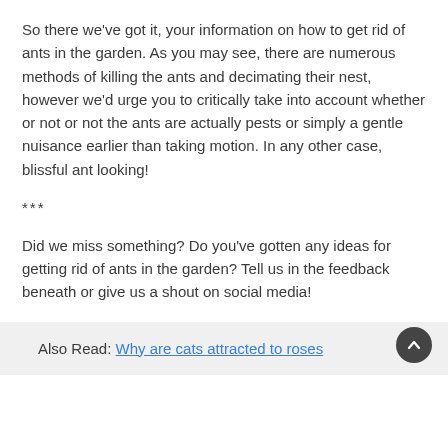So there we've got it, your information on how to get rid of ants in the garden. As you may see, there are numerous methods of killing the ants and decimating their nest, however we'd urge you to critically take into account whether or not or not the ants are actually pests or simply a gentle nuisance earlier than taking motion. In any other case, blissful ant looking!
***
Did we miss something? Do you've gotten any ideas for getting rid of ants in the garden? Tell us in the feedback beneath or give us a shout on social media!
Also Read: Why are cats attracted to roses